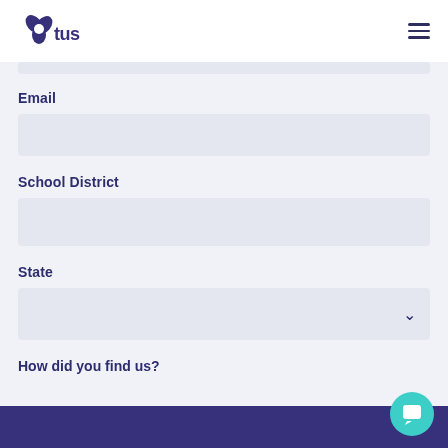[Figure (logo): Otus logo - purple flower/pinwheel icon with 'otus' text in dark purple]
Email
School District
State
How did you find us?